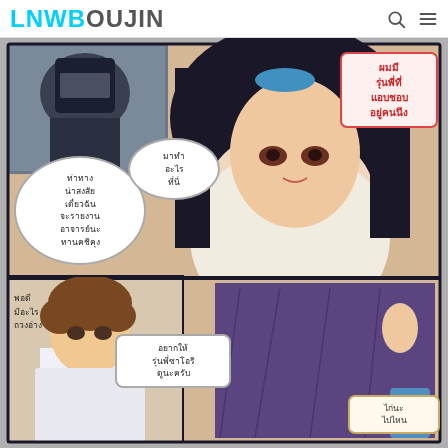LNWBOUJIN [search icon] [menu icon]
[Figure (illustration): Manga/doujin page from LNWBOUJIN website. Top panel shows a female character with long dark hair wearing a white top and purple hakama (traditional Japanese skirt), seated. Background shows kendo armor. Two speech bubbles in Thai: left bubble says 'ท่าทางน่าสงสัย เดี๋ยวฉัน จะรายงาน อาจารย์นะ ทานคชิคุง', right bubble says 'มาทำ อะไร ที่นี่'. Red text box at upper right says 'ผมมี รุ่นพี่ที่ แอบชอบ อยู่คนนึง'. Bottom section shows a male character with brown hair wearing a school uniform with yellow tie, holding a small red item. Text at lower left says 'พอดี มีอะไร ถวงอ่าง'. Speech bubble at bottom center says 'อยากให้ รุ่นพี่ซาโอริ ดูนะครับ'. Text box at lower right says 'ไก่นะ ไปไหน']